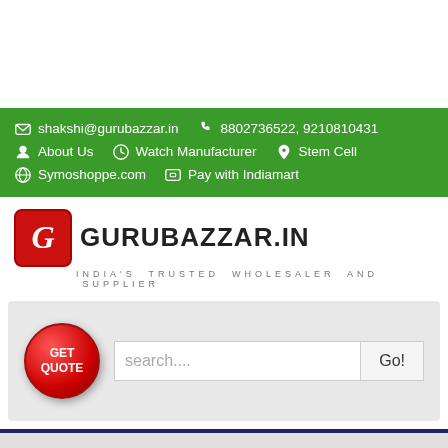shakshi@gurubazzar.in  8802736522, 9210810431  About Us  Watch Manufacturer  Stem Cell  Symoshoppe.com  Pay with Indiamart
[Figure (logo): Gurubazzar.in logo with red G icon and text GURUBAZZAR.IN and tagline INDIA'S TRUSTED WHOLESALER AND SUPPLIER]
[Figure (infographic): Search bar area with GET QUOTE red circular button and search input field with Go! button]
MENU